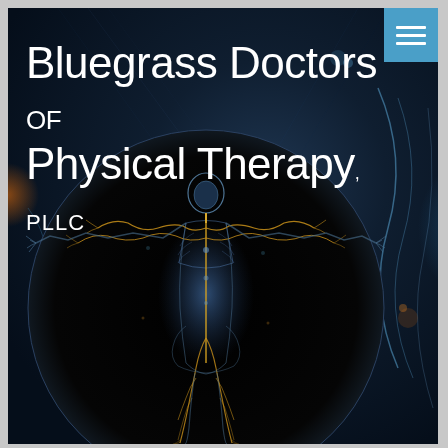Bluegrass Doctors of Physical Therapy, PLLC
[Figure (illustration): Vitruvian-man style anatomical illustration of a human body with outstretched arms and legs, showing a glowing nervous system/neural network in gold/yellow against a dark background, inside a large black circle. The background of the full page shows a dark blue atmospheric scene with bokeh light effects.]